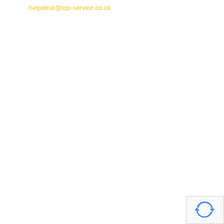helpdesk@top-service.co.uk
[Figure (logo): reCAPTCHA logo icon — blue circular arrow icon on light grey background box]